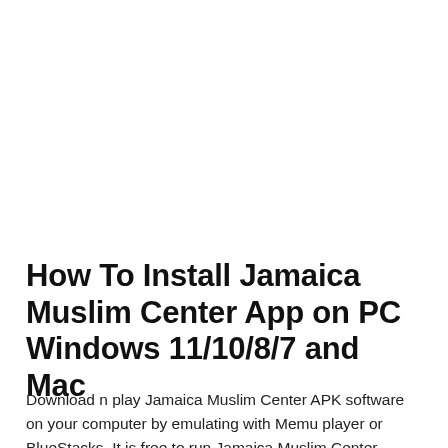How To Install Jamaica Muslim Center App on PC Windows 11/10/8/7 and Mac
Download n play Jamaica Muslim Center APK software on your computer by emulating with Memu player or BlueStacks. It is free to run Jamaica Muslim Center software